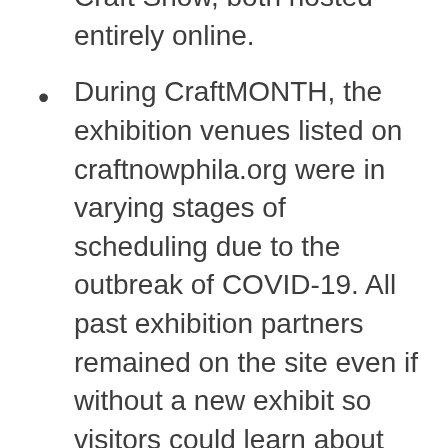Craft Show, both hosted entirely online.
During CraftMONTH, the exhibition venues listed on craftnowphila.org were in varying stages of scheduling due to the outbreak of COVID-19. All past exhibition partners remained on the site even if without a new exhibit so visitors could learn about how museums and galleries were being